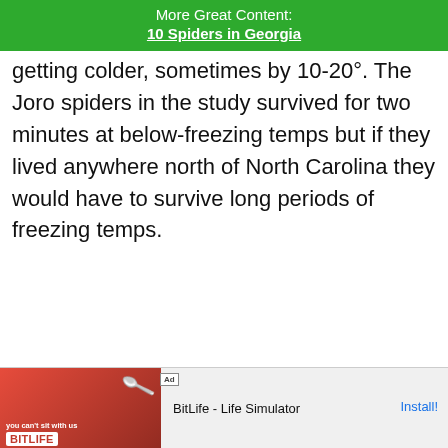More Great Content:
10 Spiders in Georgia
getting colder, sometimes by 10-20°. The Joro spiders in the study survived for two minutes at below-freezing temps but if they lived anywhere north of North Carolina they would have to survive long periods of freezing temps.
[Figure (screenshot): Advertisement banner for BitLife - Life Simulator app showing promotional image with red background and install button]